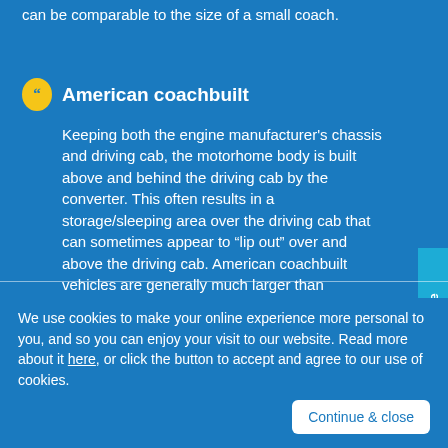can be comparable to the size of a small coach.
American coachbuilt
Keeping both the engine manufacturer's chassis and driving cab, the motorhome body is built above and behind the driving cab by the converter. This often results in a storage/sleeping area over the driving cab that can sometimes appear to "lip out" over and above the driving cab. American coachbuilt vehicles are generally much larger than European
Leave a message
We use cookies to make your online experience more personal to you, and so you can enjoy your visit to our website. Read more about it here, or click the button to accept and agree to our use of cookies.
Continue & close